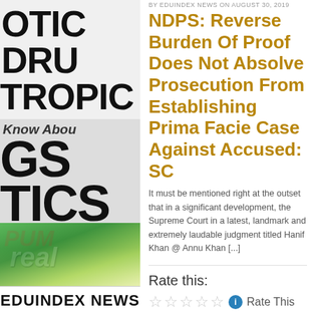[Figure (photo): Left column showing NDPS (Narcotic Drugs and Psychotropic Substances Act 1985) book cover text and pill/drug imagery with EDUINDEX NEWS footer]
BY EDUINDEX NEWS ON AUGUST 30, 2019
NDPS: Reverse Burden Of Proof Does Not Absolve Prosecution From Establishing Prima Facie Case Against Accused: SC
It must be mentioned right at the outset that in a significant development, the Supreme Court in a latest, landmark and extremely laudable judgment titled Hanif Khan @ Annu Khan [...]
Rate this:
Rate This